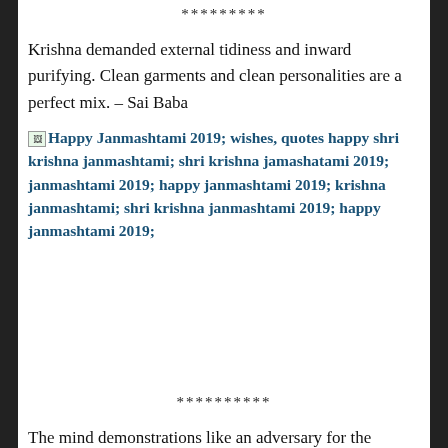*********
Krishna demanded external tidiness and inward purifying. Clean garments and clean personalities are a perfect mix. – Sai Baba
[Figure (other): Broken image placeholder with alt text: Happy Janmashtami 2019; wishes, quotes happy shri krishna janmashtami; shri krishna jamashatami 2019; janmashtami 2019; happy janmashtami 2019; krishna janmashtami; shri krishna janmashtami 2019; happy janmashtami 2019;]
*********
The mind demonstrations like an adversary for the